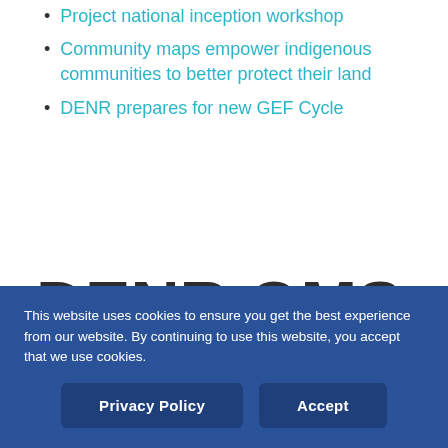Project national inception workshop
Community maps empower indigenous communities to better protect their land
DENR prepares for new GEF Cycle
DENR QMS Core Team Meeting
This website uses cookies to ensure you get the best experience from our website. By continuing to use this website, you accept that we use cookies.
Privacy Policy
Accept